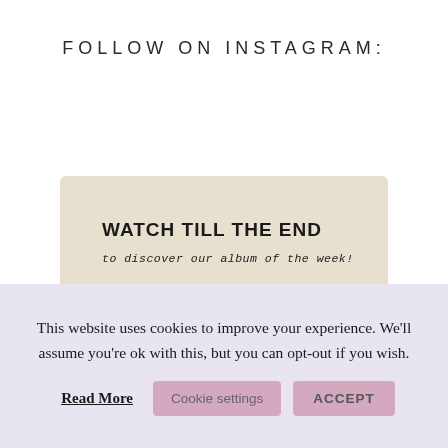FOLLOW ON INSTAGRAM:
[Figure (screenshot): Instagram card with beige/tan background showing 'WATCH TILL THE END to discover our album of the week!' with 6 circular artist portrait photos and large italic 'NEW' text with a play button triangle]
This website uses cookies to improve your experience. We'll assume you're ok with this, but you can opt-out if you wish.
Read More
Cookie settings
ACCEPT